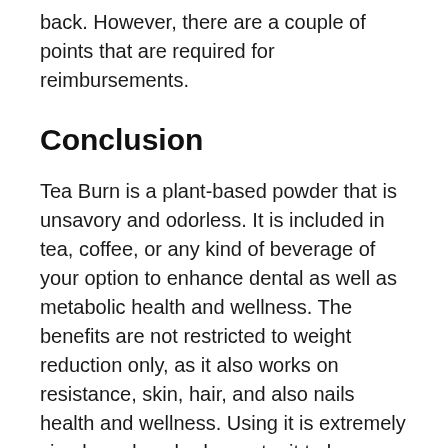back. However, there are a couple of points that are required for reimbursements.
Conclusion
Tea Burn is a plant-based powder that is unsavory and odorless. It is included in tea, coffee, or any kind of beverage of your option to enhance dental as well as metabolic health and wellness. The benefits are not restricted to weight reduction only, as it also works on resistance, skin, hair, and also nails health and wellness. Using it is extremely simple and anybody can try it to lose as well as maintain weight.
It is presently readily available for a discounted